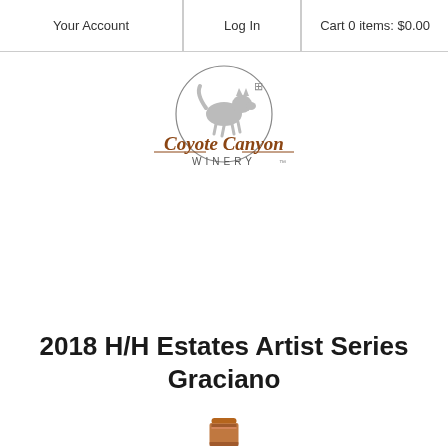Your Account | Log In | Cart 0 items: $0.00
[Figure (logo): Coyote Canyon Winery logo with coyote illustration inside circle and script text]
2018 H/H Estates Artist Series Graciano
[Figure (photo): Top of a wine bottle with copper/bronze colored capsule]